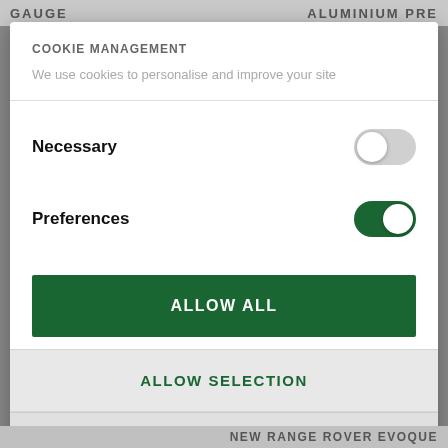GAUGE    ALUMINIUM PRE
COOKIE MANAGEMENT
We use cookies to personalise and improve your site
Necessary
Preferences
ALLOW ALL
ALLOW SELECTION
DENY
Powered by Cookiebot by Usercentrics
NEW RANGE ROVER EVOQUE